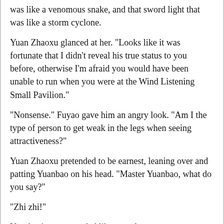was like a venomous snake, and that sword light that was like a storm cyclone.
Yuan Zhaoxu glanced at her. "Looks like it was fortunate that I didn't reveal his true status to you before, otherwise I'm afraid you would have been unable to run when you were at the Wind Listening Small Pavilion."
"Nonsense." Fuyao gave him an angry look. "Am I the type of person to get weak in the legs when seeing attractiveness?"
Yuan Zhaoxu pretended to be earnest, leaning over and patting Yuanbao on his head. "Master Yuanbao, what do you say?"
"Zhi zhi!"
Yuanbao's tone sounded like complete agreement.
Meng Fuyao was infuriated, and hatefully said, "If I really was a loose woman, I'd throw myself on you first..." After getting halfway through she realized her slip of the tongue, and with an "uh" sound she hurriedly shut her mouth.
He fortunately the position gave Yuan Zhao a look